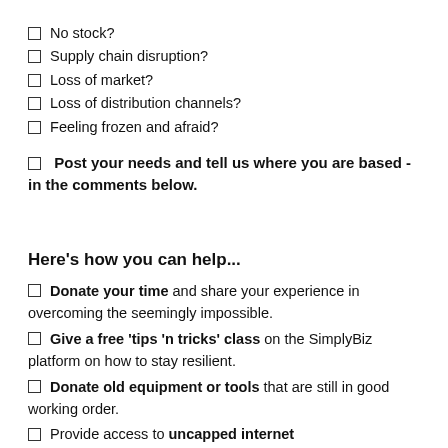☐ No stock?
☐ Supply chain disruption?
☐ Loss of market?
☐ Loss of distribution channels?
☐ Feeling frozen and afraid?
☐ Post your needs and tell us where you are based - in the comments below.
Here's how you can help...
☐ Donate your time and share your experience in overcoming the seemingly impossible.
☐ Give a free 'tips 'n tricks' class on the SimplyBiz platform on how to stay resilient.
☐ Donate old equipment or tools that are still in good working order.
☐ Provide access to uncapped internet